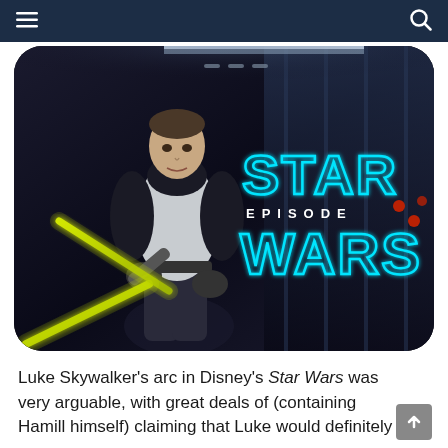Navigation bar with hamburger menu and search icon
[Figure (photo): Star Wars movie promotional image showing a female character in white outfit holding a yellow lightsaber, with the Star Wars Episode logo in cyan/blue text on the right side, set against a dark sci-fi corridor background. Image has rounded corners.]
Luke Skywalker's arc in Disney's Star Wars was very arguable, with great deals of (containing Hamill himself) claiming that Luke would definitely never ever